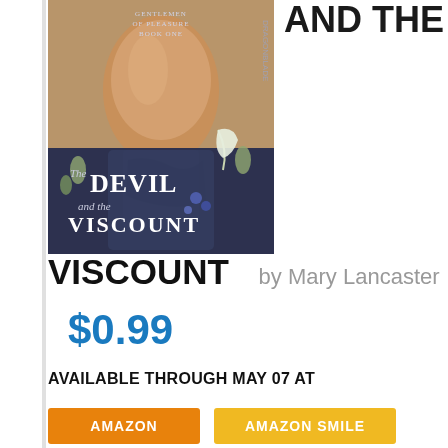[Figure (illustration): Book cover for 'The Devil and the Viscount' by Mary Lancaster, Gentlemen of Pleasure Book One. Shows a shirtless muscular man from behind, with white pants, and floral decorations. Dark blue overlay at bottom with the title text.]
AND THE
VISCOUNT by Mary Lancaster
$0.99
AVAILABLE THROUGH MAY 07 AT
AMAZON
AMAZON SMILE